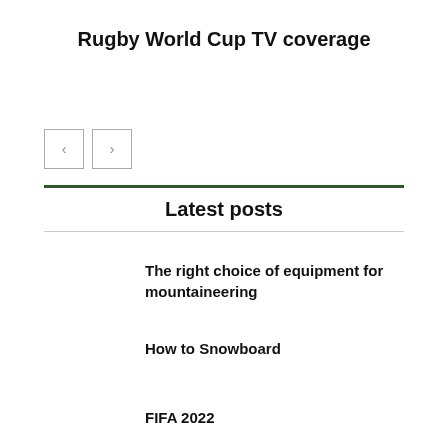Rugby World Cup TV coverage
[Figure (other): Navigation arrow buttons (left and right) for a carousel or slider]
Latest posts
The right choice of equipment for mountaineering
How to Snowboard
FIFA 2022